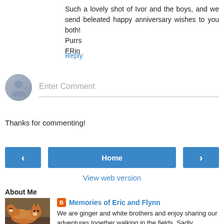Such a lovely shot of Ivor and the boys, and we send beleated happy anniversary wishes to you both!
Purrs
ERin
Reply
[Figure (other): Comment input field with avatar placeholder and 'Enter Comment' text]
Thanks for commenting!
< Home >
View web version
About Me
[Figure (photo): Photo of two ginger and white cats lying together]
Memories of Eric and Flynn
We are ginger and white brothers and enjoy sharing our adventures together walking in the fields. Sadly